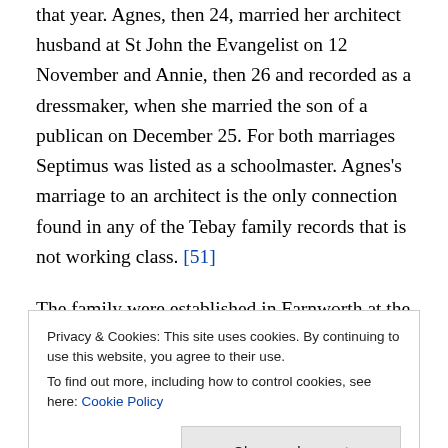that year. Agnes, then 24, married her architect husband at St John the Evangelist on 12 November and Annie, then 26 and recorded as a dressmaker, when she married the son of a publican on December 25. For both marriages Septimus was listed as a schoolmaster. Agnes's marriage to an architect is the only connection found in any of the Tebay family records that is not working class. [51]
The family were established in Farnworth at the 1881 census, living at 119 Peel Street, with a tailor
Privacy & Cookies: This site uses cookies. By continuing to use this website, you agree to their use.
To find out more, including how to control cookies, see here: Cookie Policy
described as 'schoolmaster (private school)'. [52]